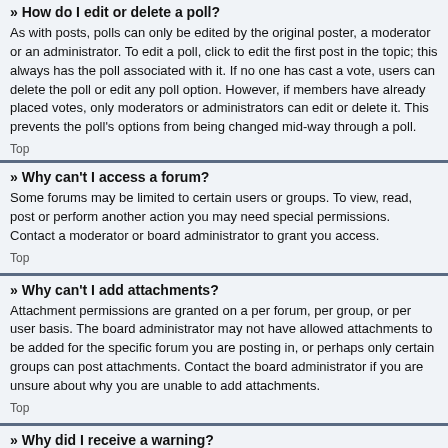» How do I edit or delete a poll?
As with posts, polls can only be edited by the original poster, a moderator or an administrator. To edit a poll, click to edit the first post in the topic; this always has the poll associated with it. If no one has cast a vote, users can delete the poll or edit any poll option. However, if members have already placed votes, only moderators or administrators can edit or delete it. This prevents the poll's options from being changed mid-way through a poll.
Top
» Why can't I access a forum?
Some forums may be limited to certain users or groups. To view, read, post or perform another action you may need special permissions. Contact a moderator or board administrator to grant you access.
Top
» Why can't I add attachments?
Attachment permissions are granted on a per forum, per group, or per user basis. The board administrator may not have allowed attachments to be added for the specific forum you are posting in, or perhaps only certain groups can post attachments. Contact the board administrator if you are unsure about why you are unable to add attachments.
Top
» Why did I receive a warning?
Each board administrator has their own set of rules for their site. If you have broken a rule, you may be issued a warning. Please note that this is